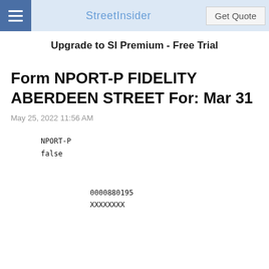StreetInsider | Get Quote
Upgrade to SI Premium - Free Trial
Form NPORT-P FIDELITY ABERDEEN STREET For: Mar 31
May 25, 2022 11:56 AM
NPORT-P
false
0000880195
XXXXXXXX